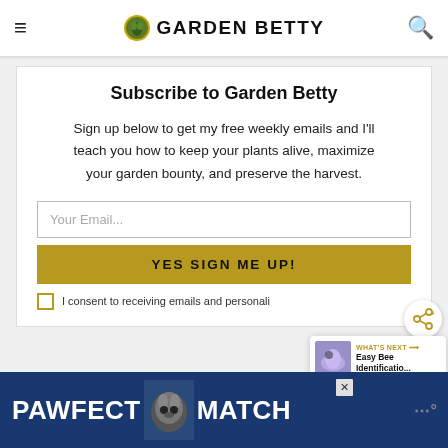Garden Betty
Subscribe to Garden Betty
Sign up below to get my free weekly emails and I'll teach you how to keep your plants alive, maximize your garden bounty, and preserve the harvest.
Your Email...
YES SIGN ME UP!
I consent to receiving emails and personali...
[Figure (screenshot): What's Next panel showing Easy Bee Identificatio... with a bee on a flower image]
[Figure (screenshot): PAWFECT MATCH advertisement banner with cat illustration on blue background]